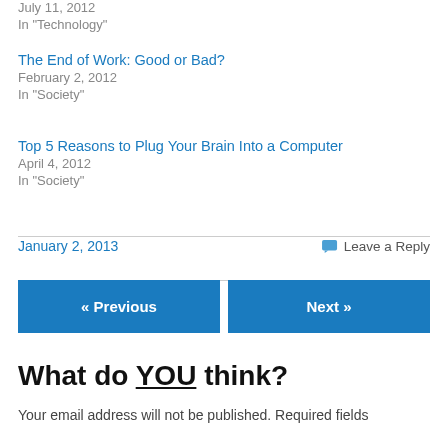July 11, 2012
In "Technology"
The End of Work: Good or Bad?
February 2, 2012
In "Society"
Top 5 Reasons to Plug Your Brain Into a Computer
April 4, 2012
In "Society"
January 2, 2013
Leave a Reply
« Previous
Next »
What do YOU think?
Your email address will not be published. Required fields